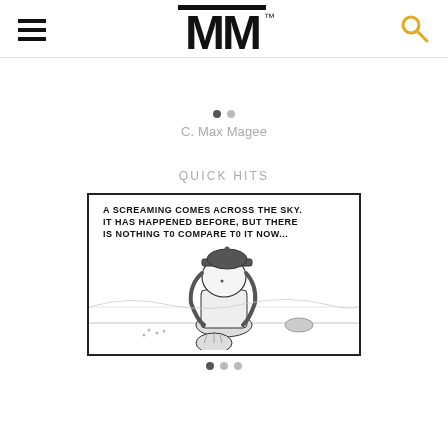MM
C. Max Magee
QUICK HITS
[Figure (illustration): Comic panel showing a character wearing a baseball cap with long hair, holding a baseball glove, with text reading: A SCREAMING COMES ACROSS THE SKY. IT HAS HAPPENED BEFORE, BUT THERE IS NOTHING TO COMPARE TO IT NOW...]